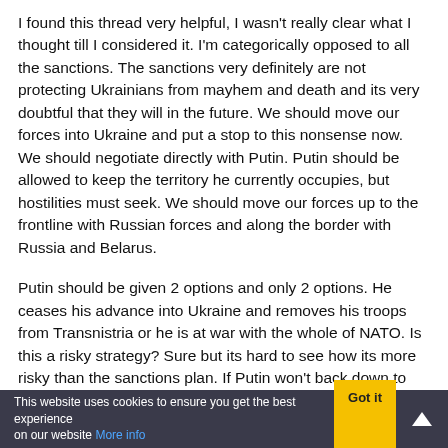I found this thread very helpful, I wasn't really clear what I thought till I considered it. I'm categorically opposed to all the sanctions. The sanctions very definitely are not protecting Ukrainians from mayhem and death and its very doubtful that they will in the future. We should move our forces into Ukraine and put a stop to this nonsense now. We should negotiate directly with Putin. Putin should be allowed to keep the territory he currently occupies, but hostilities must seek. We should move our forces up to the frontline with Russian forces and along the border with Russia and Belarus.
Putin should be given 2 options and only 2 options. He ceases his advance into Ukraine and removes his troops from Transnistria or he is at war with the whole of NATO. Is this a risky strategy? Sure but its hard to see how its more risky than the sanctions plan. If Putin won't back down to avoid a direct war with NATO I fail to see why he will just quietly allow himself to be sanctioned into humiliating defeat, retreat and capitulation without seeking to use his unused destructive
This website uses cookies to ensure you get the best experience on our website More info